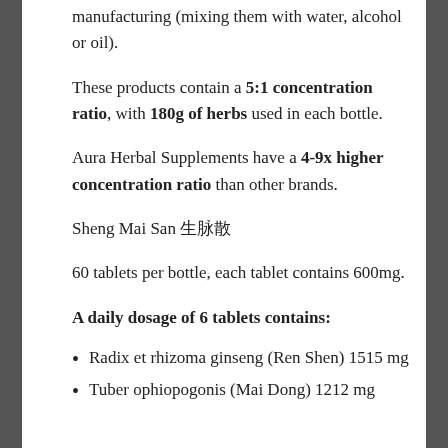manufacturing (mixing them with water, alcohol or oil).
These products contain a 5:1 concentration ratio, with 180g of herbs used in each bottle.
Aura Herbal Supplements have a 4-9x higher concentration ratio than other brands.
Sheng Mai San 生脉散
60 tablets per bottle, each tablet contains 600mg.
A daily dosage of 6 tablets contains:
Radix et rhizoma ginseng (Ren Shen) 1515 mg
Tuber ophiopogonis (Mai Dong) 1212 mg